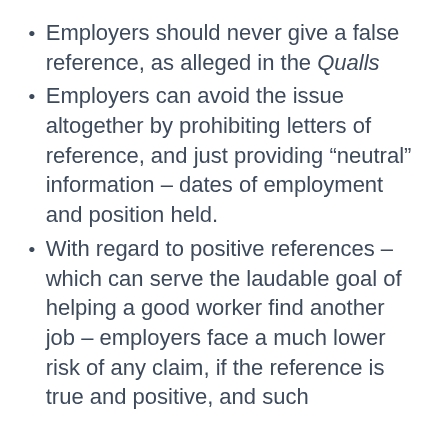Employers should never give a false reference, as alleged in the Qualls
Employers can avoid the issue altogether by prohibiting letters of reference, and just providing “neutral” information – dates of employment and position held.
With regard to positive references – which can serve the laudable goal of helping a good worker find another job – employers face a much lower risk of any claim, if the reference is true and positive, and such